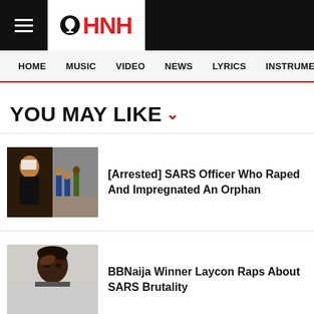HNH
YOU MAY LIKE
[Arrested] SARS Officer Who Raped And Impregnated An Orphan
BBNaija Winner Laycon Raps About SARS Brutality